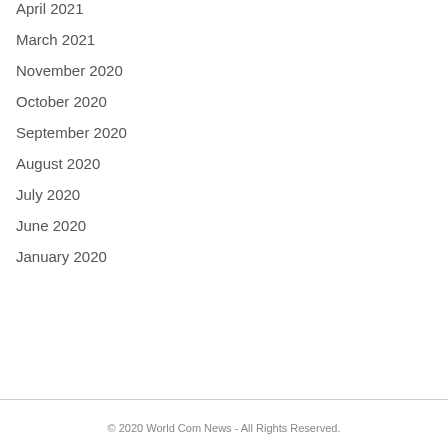April 2021
March 2021
November 2020
October 2020
September 2020
August 2020
July 2020
June 2020
January 2020
© 2020 World Com News - All Rights Reserved.